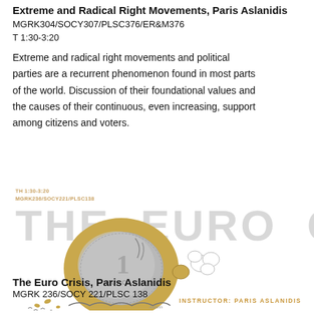Extreme and Radical Right Movements, Paris Aslanidis
MGRK304/SOCY307/PLSC376/ER&M376
T 1:30-3:20
Extreme and radical right movements and political parties are a recurrent phenomenon found in most parts of the world. Discussion of their foundational values and the causes of their continuous, even increasing, support among citizens and voters.
[Figure (illustration): Course card for The Euro Crisis with a large grey watermark text 'THE EURO CRISIS', small orange text 'TH 1:30-3:20 / MGRK236/SOCY221/PLSC138', a cartoon illustration of a 1 Euro coin crawling like a snail with a cracked shell and puff clouds, and 'INSTRUCTOR: PARIS ASLANIDIS' in orange on the right.]
The Euro Crisis, Paris Aslanidis
MGRK 236/SOCY 221/PLSC 138